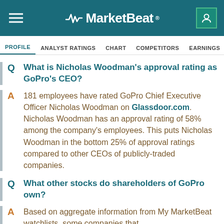MarketBeat
PROFILE  ANALYST RATINGS  CHART  COMPETITORS  EARNINGS  FINANCIAL
Q  What is Nicholas Woodman's approval rating as GoPro's CEO?
A  181 employees have rated GoPro Chief Executive Officer Nicholas Woodman on Glassdoor.com. Nicholas Woodman has an approval rating of 58% among the company's employees. This puts Nicholas Woodman in the bottom 25% of approval ratings compared to other CEOs of publicly-traded companies.
Q  What other stocks do shareholders of GoPro own?
A  Based on aggregate information from My MarketBeat watchlists, some companies that